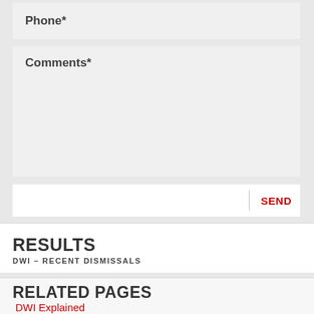Phone*
Comments*
SEND
RESULTS
DWI – RECENT DISMISSALS
RELATED PAGES
DWI Explained